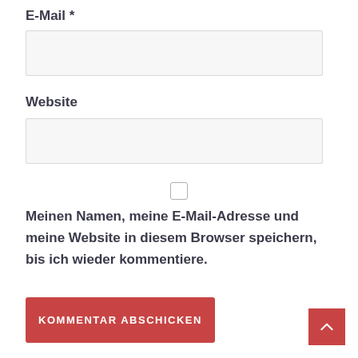E-Mail *
[Figure (other): Empty text input field for E-Mail]
Website
[Figure (other): Empty text input field for Website]
[Figure (other): Checkbox (unchecked)]
Meinen Namen, meine E-Mail-Adresse und meine Website in diesem Browser speichern, bis ich wieder kommentiere.
[Figure (other): Submit button labeled KOMMENTAR ABSCHICKEN]
[Figure (other): Back to top arrow button]